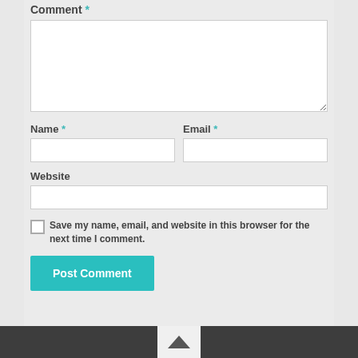Comment *
[Figure (screenshot): Comment textarea input field]
Name *
[Figure (screenshot): Name text input field]
Email *
[Figure (screenshot): Email text input field]
Website
[Figure (screenshot): Website text input field]
Save my name, email, and website in this browser for the next time I comment.
Post Comment